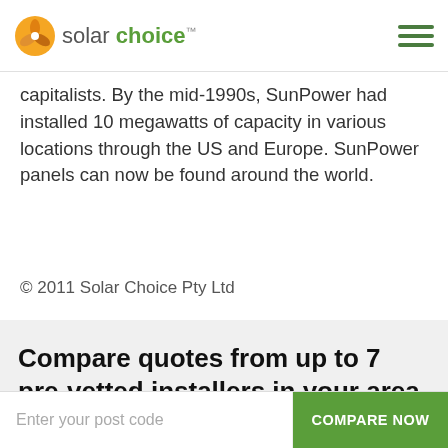Solar Choice
capitalists. By the mid-1990s, SunPower had installed 10 megawatts of capacity in various locations through the US and Europe. SunPower panels can now be found around the world.
© 2011 Solar Choice Pty Ltd
Compare quotes from up to 7 pre-vetted installers in your area now.
Since 2008 our knowledge and sophisticated software has allowed over 160,000 Australian households and businesses to make a well-
Enter your post code   COMPARE NOW